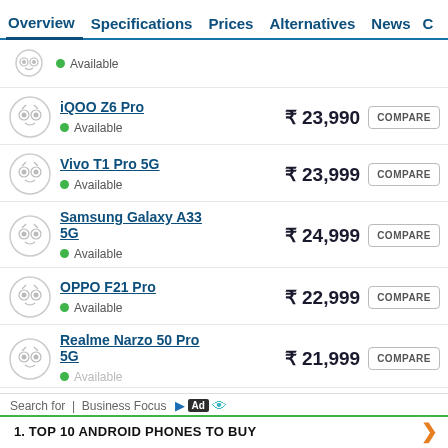Overview | Specifications | Prices | Alternatives | News
iQOO Z6 Pro — ₹ 23,990 — Available
Vivo T1 Pro 5G — ₹ 23,999 — Available
Samsung Galaxy A33 5G — ₹ 24,999 — Available
OPPO F21 Pro — ₹ 22,999 — Available
Realme Narzo 50 Pro 5G — ₹ 21,999 — Available
Search for | Business Focus — Ad — 1. TOP 10 ANDROID PHONES TO BUY